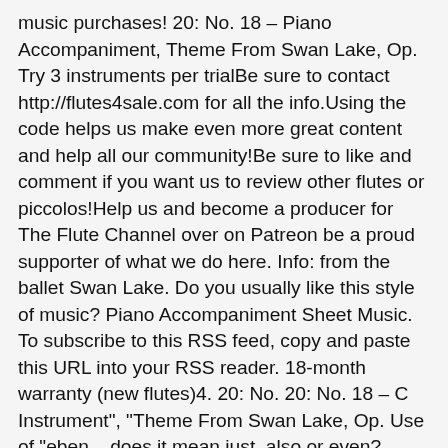music purchases! 20: No. 18 – Piano Accompaniment, Theme From Swan Lake, Op. Try 3 instruments per trialBe sure to contact http://flutes4sale.com for all the info.Using the code helps us make even more great content and help all our community!Be sure to like and comment if you want us to review other flutes or piccolos!Help us and become a producer for The Flute Channel over on Patreon be a proud supporter of what we do here. Info: from the ballet Swan Lake. Do you usually like this style of music? Piano Accompaniment Sheet Music. To subscribe to this RSS feed, copy and paste this URL into your RSS reader. 18-month warranty (new flutes)4. 20: No. 20: No. 18 – C Instrument", "Theme From Swan Lake, Op. Use of "eben – does it mean just, also or even? Peter Ilyich Tchaikovsky Sheet Music  Try TomPlay NOW! The very first sound you will hear is a violin but the melody of the song is an oboe. 18 – F Instrument & Piano, Theme From Swan Lake, Op. Easily share your music lists with friends, students, and the world. How to deal with a younger coworker who is too reliant on online sources. I assume you didn't say "oboi" at first because you were seeking a Teachable Moment, and that's not all bad, either.... @Kevin_Kinsey: Note, that oboi is (foreign language) plural, and two oboes are standard orchestra